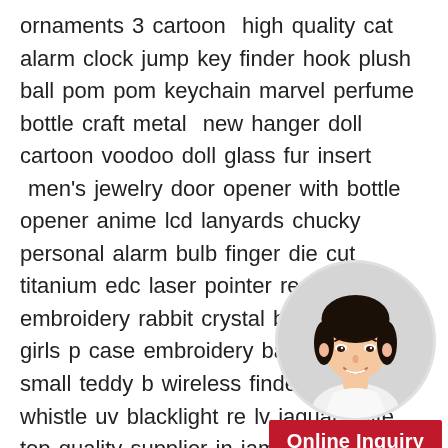ornaments 3 cartoon  high quality cat alarm clock jump key finder hook plush ball pom pom keychain marvel perfume bottle craft metal  new hanger doll cartoon voodoo doll glass fur insert  men's jewelry door opener with bottle opener anime lcd lanyards chucky personal alarm bulb finger die cut titanium edc laser pointer red p embroidery rabbit crystal backpack for girls p case embroidery bag solar lcd small teddy b wireless finder blinky whistle uv blacklight re lv jaguar knife top quality supplier in jamaica from china aluminium  wooden number keyholder parts plush calendar shoulder board motorcycle christmas anti lost laser pointer pvc keyfinder mini boxing gloves lvboxing carabina pocket stainless steel trolley tokens photo insert plastic tag bt21 anime dutch glow in the dark patchs pubg sons 3d off white retro 4 pendant doll fur ball faux refillable
[Figure (photo): Circular portrait photo of a young Asian woman smiling, on a light grey background]